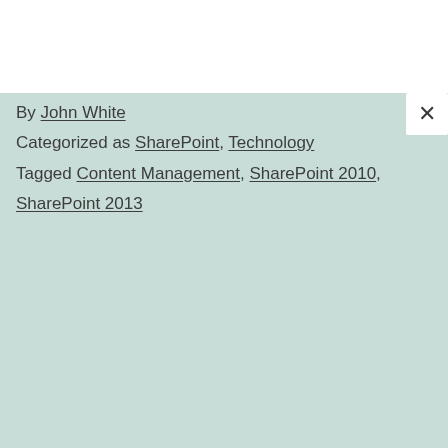By John White
Categorized as SharePoint, Technology
Tagged Content Management, SharePoint 2010, SharePoint 2013